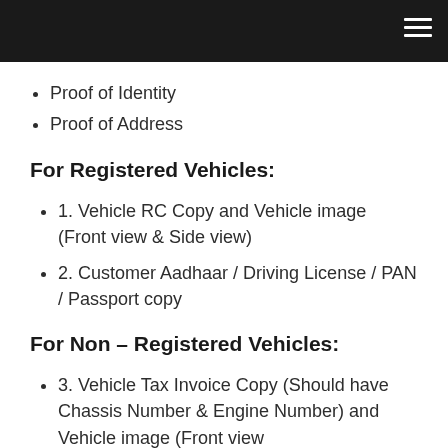Proof of Identity
Proof of Address
For Registered Vehicles:
1. Vehicle RC Copy and Vehicle image (Front view & Side view)
2. Customer Aadhaar / Driving License / PAN / Passport copy
For Non – Registered Vehicles:
3. Vehicle Tax Invoice Copy (Should have Chassis Number & Engine Number) and Vehicle image (Front view